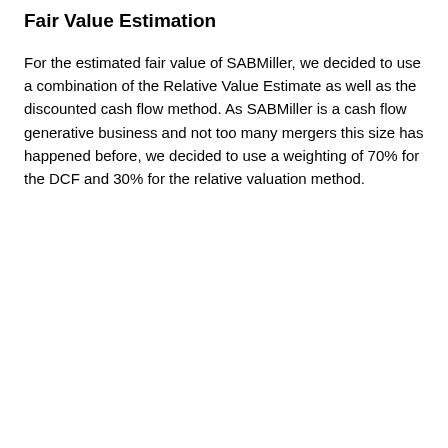Fair Value Estimation
For the estimated fair value of SABMiller, we decided to use a combination of the Relative Value Estimate as well as the discounted cash flow method. As SABMiller is a cash flow generative business and not too many mergers this size has happened before, we decided to use a weighting of 70% for the DCF and 30% for the relative valuation method.